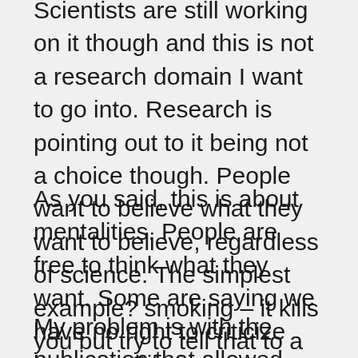Scientists are still working on it though and this is not a research domain I want to go into. Research is pointing out to it being not a choice though. People want to believe what they want to believe, regardless of science. The simplest example? smoking – it kills you but try to tell that to a smoker.
As you said, this is about mentalities. People are free to think what they want. Some are saying we have no right to criticize because Sibai was exercising his right of free speech. He's definitely among the majority in Lebanon, let alone many other countries.
My problem is with the publication that allowed such an article to be published